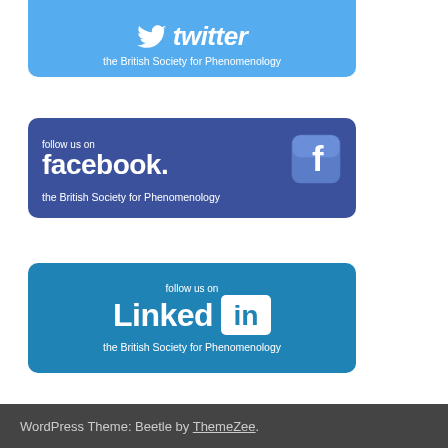[Figure (logo): Twitter follow button for the British Society for Phenomenology — light blue rounded rectangle with Twitter bird icon, 'twitter' text in italic bold, and subtitle 'the British Society for Phenomenology']
[Figure (logo): Facebook follow button for the British Society for Phenomenology — dark blue rounded rectangle with 'follow us on', 'facebook.' in large bold text, Facebook 'f' icon, and subtitle 'the British Society for Phenomenology']
[Figure (logo): LinkedIn follow button for the British Society for Phenomenology — medium blue rounded rectangle with 'follow us on', 'LinkedIn' in large bold text with 'in' logo box, and subtitle 'the British Society for Phenomenology']
WordPress Theme: Beetle by ThemeZee.